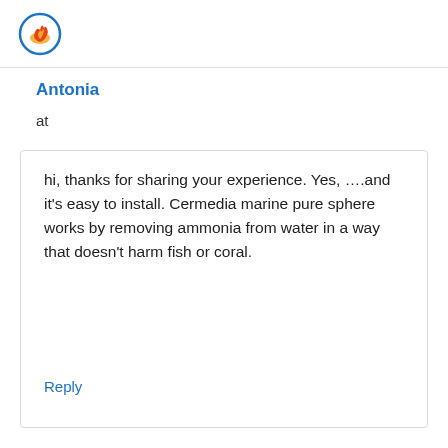Antonia
at
hi, thanks for sharing your experience. Yes, ….and it's easy to install. Cermedia marine pure sphere works by removing ammonia from water in a way that doesn't harm fish or coral.
Reply